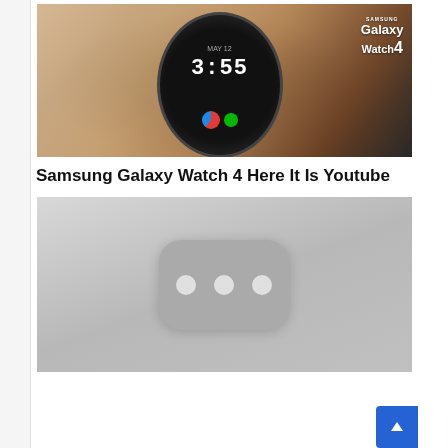[Figure (photo): Photo of a Samsung Galaxy Watch 4 being worn on a wrist, showing the watch face displaying 3:55, with Samsung Galaxy Watch 4 branding visible in the upper right of the image.]
Samsung Galaxy Watch 4 Here It Is Youtube
[Figure (screenshot): A grayed-out YouTube video placeholder thumbnail with the YouTube logo (rounded rectangle with three dots) centered on a light gray background, indicating the video is loading or unavailable.]